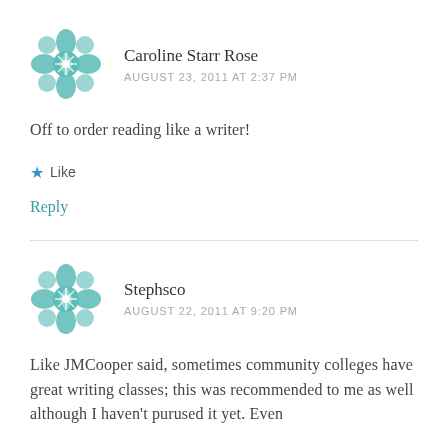[Figure (illustration): Teal/green decorative quilt-pattern avatar icon for Caroline Starr Rose]
Caroline Starr Rose
AUGUST 23, 2011 AT 2:37 PM
Off to order reading like a writer!
★ Like
Reply
[Figure (illustration): Teal/green decorative quilt-pattern avatar icon for Stephsco]
Stephsco
AUGUST 22, 2011 AT 9:20 PM
Like JMCooper said, sometimes community colleges have great writing classes; this was recommended to me as well although I haven't purused it yet. Even